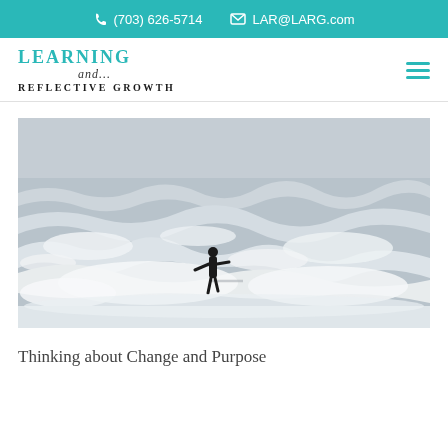(703) 626-5714   LAR@LARG.com
[Figure (logo): Learning and... Reflective Growth logo in teal and black serif text]
[Figure (photo): Black and white photo of a surfer in a wetsuit riding a wave on a choppy ocean]
Thinking about Change and Purpose